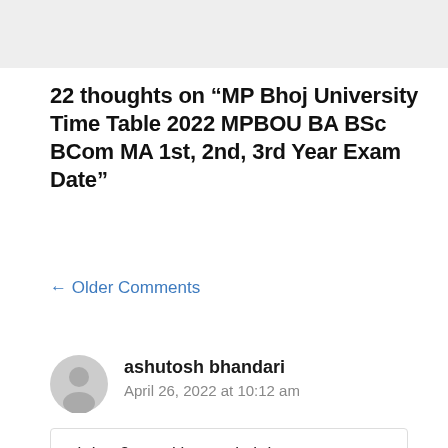22 thoughts on “MP Bhoj University Time Table 2022 MPBOU BA BSc BCom MA 1st, 2nd, 3rd Year Exam Date”
← Older Comments
ashutosh bhandari
April 26, 2022 at 10:12 am
sir b.a 3 year ki exam kab he